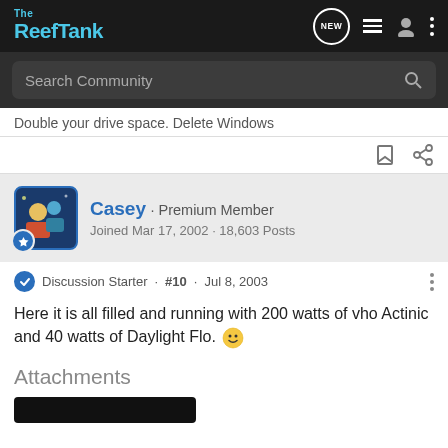The Reef Tank — navigation bar with logo, NEW, list, user, and menu icons
Search Community
Double your drive space. Delete Windows
Casey · Premium Member
Joined Mar 17, 2002 · 18,603 Posts
Discussion Starter · #10 · Jul 8, 2003
Here it is all filled and running with 200 watts of vho Actinic and 40 watts of Daylight Flo. 🙂
Attachments
[Figure (screenshot): Partial dark thumbnail image at bottom]